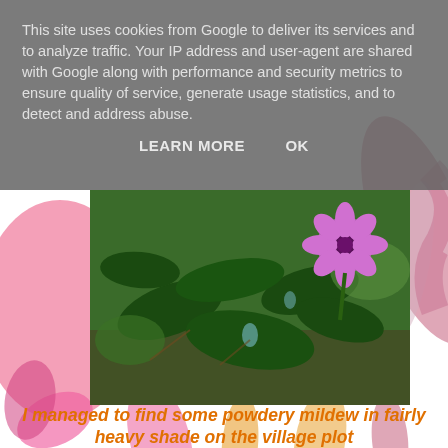This site uses cookies from Google to deliver its services and to analyze traffic. Your IP address and user-agent are shared with Google along with performance and security metrics to ensure quality of service, generate usage statistics, and to detect and address abuse.
LEARN MORE    OK
[Figure (photo): Close-up photo of green leafy plants with a pink/purple flower visible in the upper right corner, taken in a garden setting with shade.]
I managed to find some powdery mildew in fairly heavy shade on the village plot
[Figure (photo): Partial view of pink flowering plants in a garden, two images side by side, partially visible at the bottom of the page.]